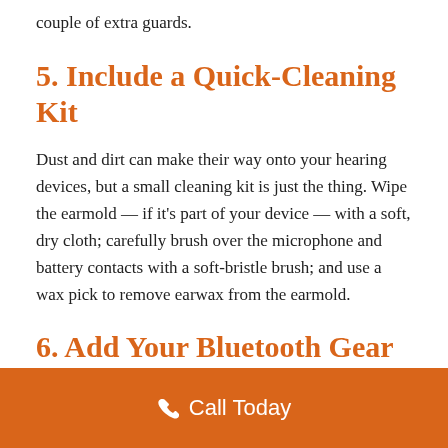couple of extra guards.
5. Include a Quick-Cleaning Kit
Dust and dirt can make their way onto your hearing devices, but a small cleaning kit is just the thing. Wipe the earmold — if it's part of your device — with a soft, dry cloth; carefully brush over the microphone and battery contacts with a soft-bristle brush; and use a wax pick to remove earwax from the earmold.
6. Add Your Bluetooth Gear
Call Today